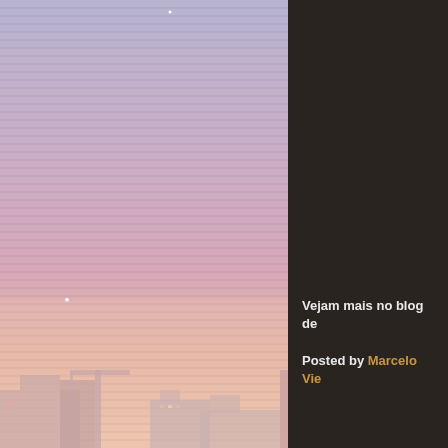[Figure (illustration): Stylized city skyline at dusk with a gradient sky transitioning from purple-blue at top to warm pink-peach at bottom. Horizontal scan lines create a retro effect. Small white dots represent stars. Building silhouettes visible at the bottom including industrial structures with a crane and factory chimney.]
Vejam mais no blog de
Posted by Marcelo Vie